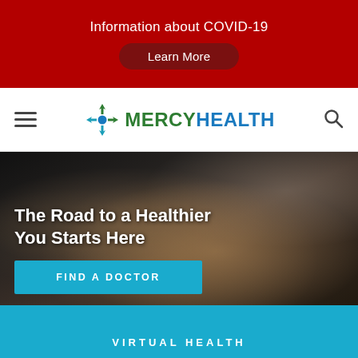Information about COVID-19
Learn More
[Figure (logo): MercyHealth logo with green cross and teal MERCYHEALTH text]
The Road to a Healthier You Starts Here
FIND A DOCTOR
VIRTUAL HEALTH